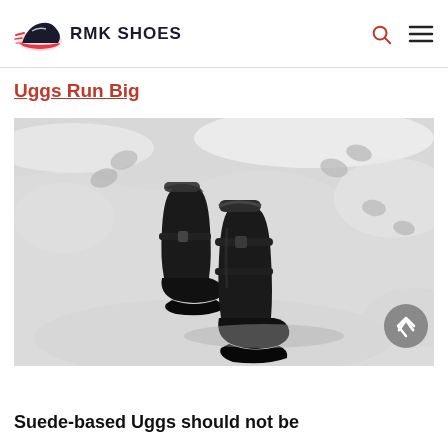RMK SHOES
Uggs Run Big
[Figure (photo): Black Ugg-style winter boots sitting on snow, viewed from above at an angle. The boots are dark/black with sherpa lining visible at the top. Footprints are visible in the snowy background.]
Suede-based Uggs should not be